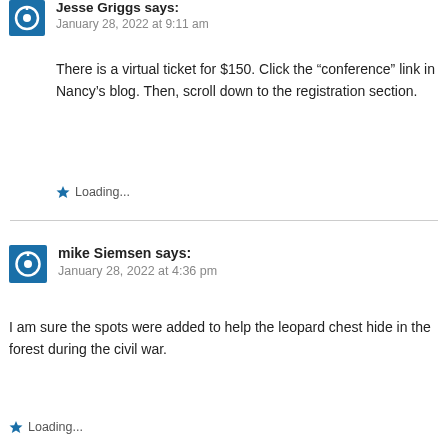Jesse Griggs says:
January 28, 2022 at 9:11 am
There is a virtual ticket for $150. Click the “conference” link in Nancy’s blog. Then, scroll down to the registration section.
Loading...
mike Siemsen says:
January 28, 2022 at 4:36 pm
I am sure the spots were added to help the leopard chest hide in the forest during the civil war.
Loading...